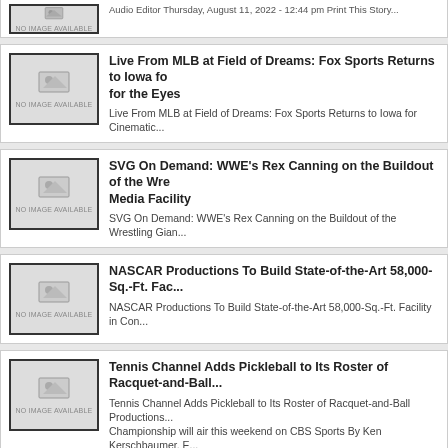Live From MLB at Field of Dreams: Fox Sports Returns to Iowa for the Eyes
Live From MLB at Field of Dreams: Fox Sports Returns to Iowa for Cinematic...
SVG On Demand: WWE's Rex Canning on the Buildout of the Wrestling Giant's Media Facility
SVG On Demand: WWE's Rex Canning on the Buildout of the Wrestling Gian...
NASCAR Productions To Build State-of-the-Art 58,000-Sq.-Ft. Fac...
NASCAR Productions To Build State-of-the-Art 58,000-Sq.-Ft. Facility in Con...
Tennis Channel Adds Pickleball to Its Roster of Racquet-and-Ball...
Tennis Channel Adds Pickleball to Its Roster of Racquet-and-Ball Productions... Championship will air this weekend on CBS Sports By Ken Kerschbaumer, E...
Barry Johnstone Memorial Service Available On Demand
Barry Johnstone Memorial Service Available On Demand By Ken Kerschbau... Monday, July 25, 2022 - 9:55 am Print This Story | Subscribe ...
Wimbledon 2022: IMG and Wimbledon Uncovered
Wimbledon 2022: IMG and Wimbledon Uncovered By George Bevir Tuesday... Print This Story IMG-produced channel Wimbledon Uncovered Hav...